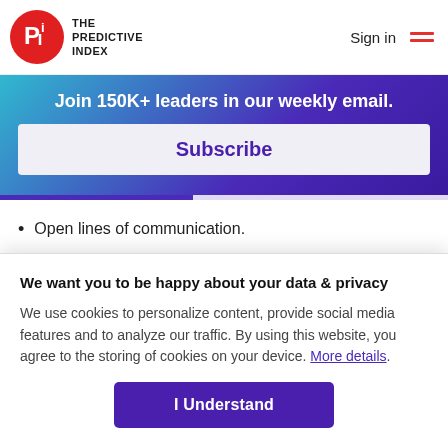[Figure (logo): The Predictive Index logo with red circle PI icon and text 'THE PREDICTIVE INDEX']
Sign in
Join 150K+ leaders in our weekly email.
Subscribe
Open lines of communication.
Fair and honest feedback.
Clear boundaries (on projects, on timelines, on
We want you to be happy about your data & privacy
We use cookies to personalize content, provide social media features and to analyze our traffic. By using this website, you agree to the storing of cookies on your device. More details.
I Understand